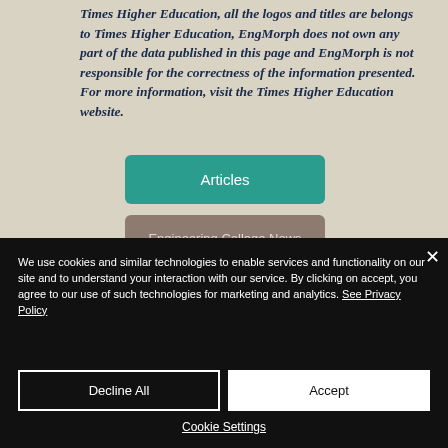Times Higher Education, all the logos and titles are belongs to Times Higher Education, EngMorph does not own any part of the data published in this page and EngMorph is not responsible for the correctness of the information presented. For more information, visit the Times Higher Education website.
Articles
Engineering College News
We use cookies and similar technologies to enable services and functionality on our site and to understand your interaction with our service. By clicking on accept, you agree to our use of such technologies for marketing and analytics. See Privacy Policy
Decline All
Accept
Cookie Settings